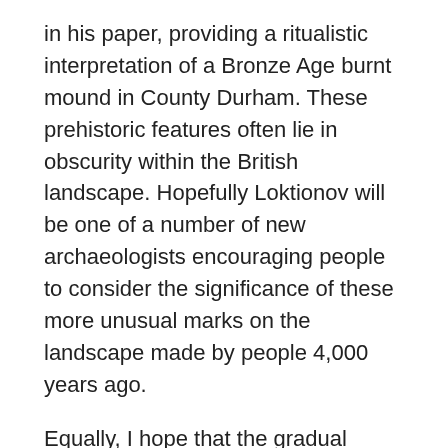in his paper, providing a ritualistic interpretation of a Bronze Age burnt mound in County Durham. These prehistoric features often lie in obscurity within the British landscape. Hopefully Loktionov will be one of a number of new archaeologists encouraging people to consider the significance of these more unusual marks on the landscape made by people 4,000 years ago.
Equally, I hope that the gradual increase in recent years of archaeologists' appreciation of the complexity in function of monuments, and indeed what exactly constitutes that term, will continue to happen. It is important that the abstract and nuanced nature of human psychology can be more comfortably integrated into new interpretations of